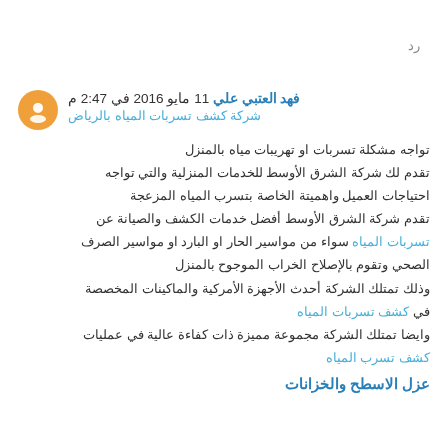رد
فهد العتبي علي 11 مايو 2016 في 2:47 م
شركة كشف تسربات المياه بالرياض
تواجه مشكلة تسربات او تهريبات مياه بالمنزل تقدم لك شركة الشرق الأوسط للخدمات المنزلية والتي تواجه احتياجات العميل واهميتة الخاصة بتسرب المياه المزعجة تقدم شركة الشرق الأوسط أفضل خدمات الكشف والصيانة عن تسربات المياه سواء من مواسير الحار او البارد او مواسير الصرف الصحي وتقوم بالإصلاح الخراب الموجوح بالمنزل وذلك تمتلك الشركة أحدث الأجهزة الأمركية والماكينات المخصصة في كشف تسربات المياه وايضا تمتلك الشركة مجموعة مميزة ذات كفاءة عالية في عمليات كشف تسرب المياه
عزل الاسطح والخزانات